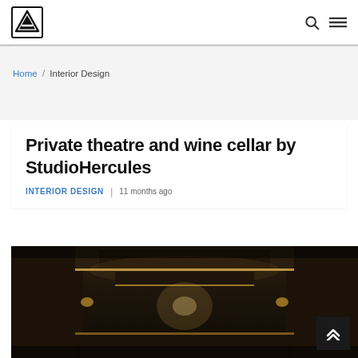StudioHercules interior design blog header with logo and navigation icons
Home / Interior Design
Private theatre and wine cellar by StudioHercules
INTERIOR DESIGN | 11 months ago
[Figure (photo): Dark interior photograph of a private theatre corridor with recessed ceiling lights, wooden wall panels, and ambient warm lighting at the end of the hallway]